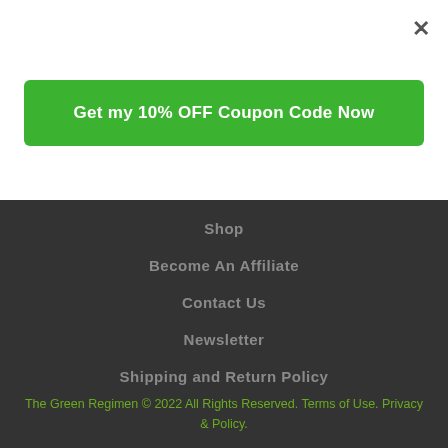×
Get my 10% OFF Coupon Code Now
Shop
Become An Affiliate
Contact Us
Newsletter
Shipping and Return Policy
The Green Regimen © 2022 All Rights Reserved. Terms of Use. Privacy & Policy.